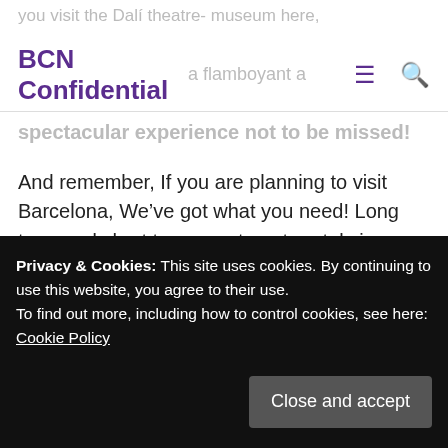BCN Confidential
spectacular experience not to be missed!
And remember, If you are planning to visit Barcelona, We've got what you need! Long term and short term apartment rentals in Barcelona: Here at BizFlats, we are proud to offer you quality apartments located across Barcelona city: www.bizflats.com
Barcelona Museums, Day Trips from Barcelona
Leave a comment
Privacy & Cookies: This site uses cookies. By continuing to use this website, you agree to their use.
To find out more, including how to control cookies, see here: Cookie Policy
Close and accept